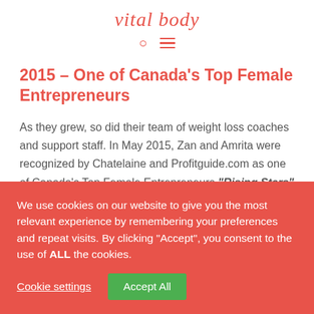vital body
2015 – One of Canada's Top Female Entrepreneurs
As they grew, so did their team of weight loss coaches and support staff. In May 2015, Zan and Amrita were recognized by Chatelaine and Profitguide.com as one of Canada's Top Female Entrepreneurs "Rising Stars" for their growth,
We use cookies on our website to give you the most relevant experience by remembering your preferences and repeat visits. By clicking "Accept", you consent to the use of ALL the cookies.
Cookie settings
Accept All